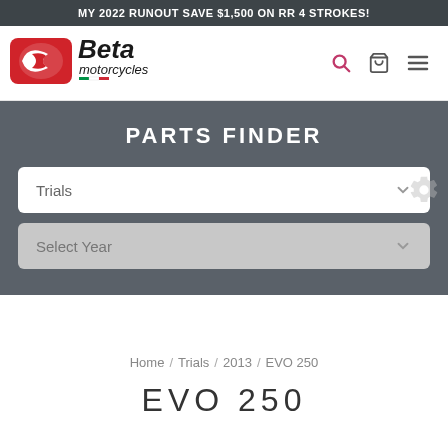MY 2022 RUNOUT SAVE $1,500 ON RR 4 STROKES!
[Figure (logo): Beta Motorcycles logo — red oval emblem with stylized B, plus 'Beta motorcycles' wordmark with Italian flag colors]
PARTS FINDER
Trials
Select Year
Home / Trials / 2013 / EVO 250
EVO 250